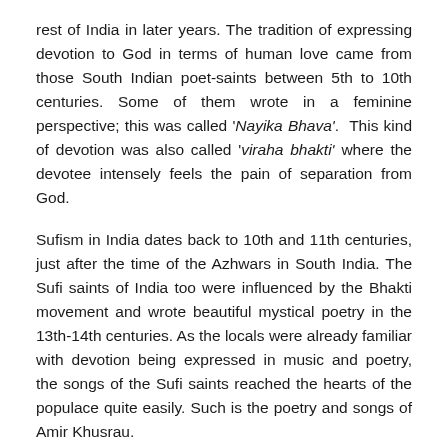rest of India in later years. The tradition of expressing devotion to God in terms of human love came from those South Indian poet-saints between 5th to 10th centuries. Some of them wrote in a feminine perspective; this was called 'Nayika Bhava'. This kind of devotion was also called 'viraha bhakti' where the devotee intensely feels the pain of separation from God.
Sufism in India dates back to 10th and 11th centuries, just after the time of the Azhwars in South India. The Sufi saints of India too were influenced by the Bhakti movement and wrote beautiful mystical poetry in the 13th-14th centuries. As the locals were already familiar with devotion being expressed in music and poetry, the songs of the Sufi saints reached the hearts of the populace quite easily. Such is the poetry and songs of Amir Khusrau.